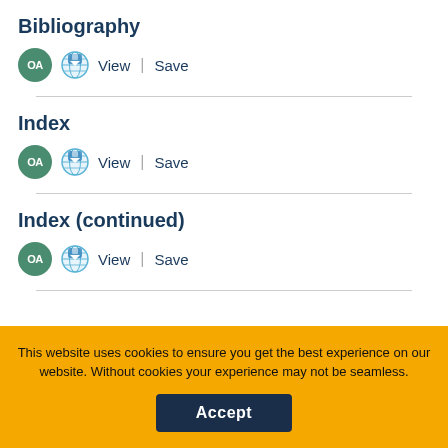Bibliography
OA  View | Save
Index
OA  View | Save
Index (continued)
OA  View | Save
This website uses cookies to ensure you get the best experience on our website. Without cookies your experience may not be seamless.
Accept